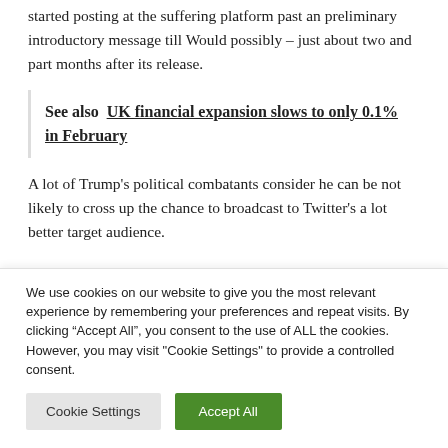started posting at the suffering platform past an preliminary introductory message till Would possibly – just about two and part months after its release.
See also  UK financial expansion slows to only 0.1% in February
A lot of Trump's political combatants consider he can be not likely to cross up the chance to broadcast to Twitter's a lot better target audience.
We use cookies on our website to give you the most relevant experience by remembering your preferences and repeat visits. By clicking "Accept All", you consent to the use of ALL the cookies. However, you may visit "Cookie Settings" to provide a controlled consent.